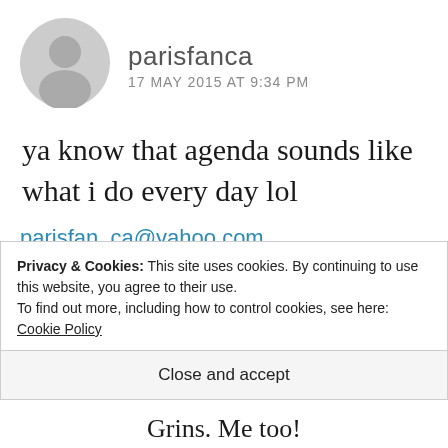[Figure (illustration): Gray circular avatar/profile placeholder icon]
parisfanca
17 MAY 2015 AT 9:34 PM
ya know that agenda sounds like what i do every day lol
parisfan_ca@yahoo.com
★ Like
REPLY
Privacy & Cookies: This site uses cookies. By continuing to use this website, you agree to their use.
To find out more, including how to control cookies, see here: Cookie Policy
Close and accept
Grins. Me too!